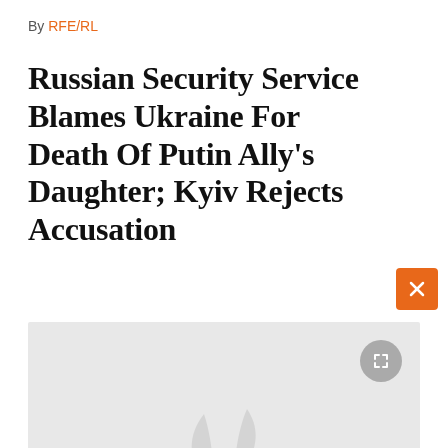By RFE/RL
Russian Security Service Blames Ukraine For Death Of Putin Ally's Daughter; Kyiv Rejects Accusation
[Figure (photo): Gray placeholder image with RFE/RL watermark logo in center and expand/fullscreen button in top-right corner]
Darya Dugina was killed when the vehicle she was